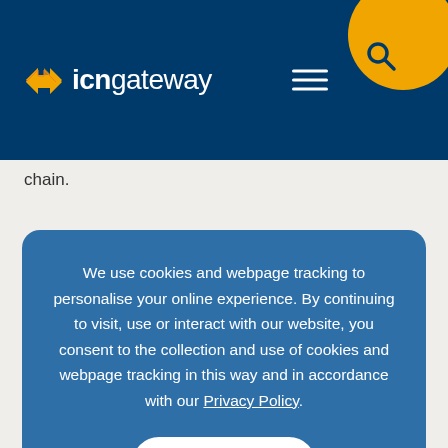[Figure (screenshot): ICN Gateway website navigation bar with logo (arrow icon + 'icngateway' text), hamburger menu icon, and orange search circle button]
chain.
We use cookies and webpage tracking to personalise your online experience. By continuing to visit, use or interact with our website, you consent to the collection and use of cookies and webpage tracking in this way and in accordance with our Privacy Policy.
Accept
available to submit an EOI for are listed in the work package section.